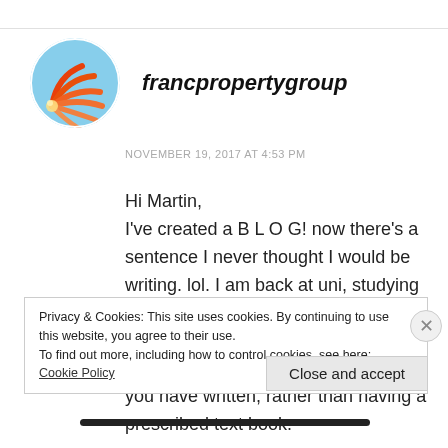[Figure (logo): Round avatar with orange/red fan-like leaf design on blue background — francpropertygroup profile logo]
francpropertygroup
NOVEMBER 19, 2017 AT 4:53 PM
Hi Martin,
I've created a B L O G! now there's a sentence I never thought I would be writing. lol. I am back at uni, studying a Bachelor of Property, and have quite a few years ahead of me. I am really enjoying the study guide that you have written, rather than having a prescribed text book.
Privacy & Cookies: This site uses cookies. By continuing to use this website, you agree to their use.
To find out more, including how to control cookies, see here: Cookie Policy
Close and accept